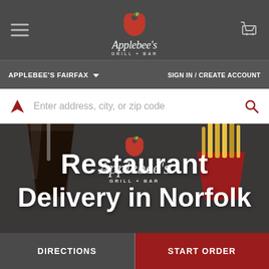[Figure (screenshot): Applebee's Grill + Bar restaurant website screenshot showing mobile UI with navigation bar, location selector, search bar, hero image with logo and text 'Restaurant Delivery in Norfolk', and bottom action buttons for Directions and Start Order]
APPLEBEE'S FAIRFAX  |  SIGN IN / CREATE ACCOUNT
Enter address, city, or zip code
Restaurant
Delivery in Norfolk
DIRECTIONS
START ORDER